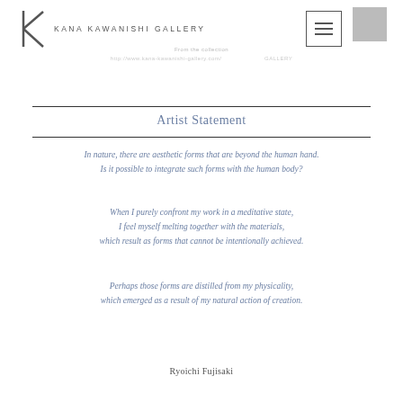KANA KAWANISHI GALLERY
Artist Statement
In nature, there are aesthetic forms that are beyond the human hand.
Is it possible to integrate such forms with the human body?
When I purely confront my work in a meditative state,
I feel myself melting together with the materials,
which result as forms that cannot be intentionally achieved.
Perhaps those forms are distilled from my physicality,
which emerged as a result of my natural action of creation.
Ryoichi Fujisaki